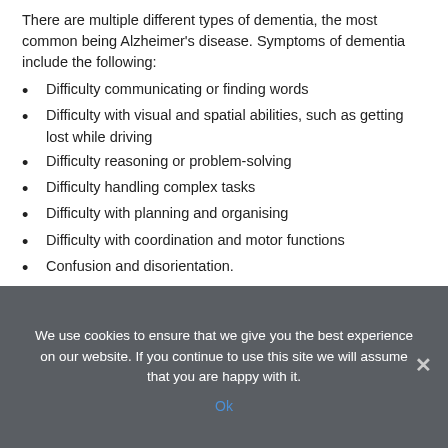There are multiple different types of dementia, the most common being Alzheimer's disease. Symptoms of dementia include the following:
Difficulty communicating or finding words
Difficulty with visual and spatial abilities, such as getting lost while driving
Difficulty reasoning or problem-solving
Difficulty handling complex tasks
Difficulty with planning and organising
Difficulty with coordination and motor functions
Confusion and disorientation.
Although it is difficult to say what she would do, if she were in a similar situation, Dame Joan has not shied away from the
We use cookies to ensure that we give you the best experience on our website. If you continue to use this site we will assume that you are happy with it.